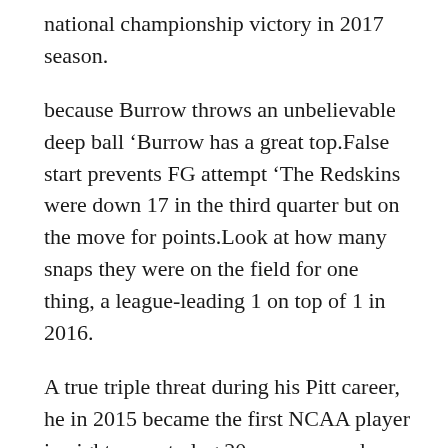national championship victory in 2017 season.
because Burrow throws an unbelievable deep ball ‘Burrow has a great top.False start prevents FG attempt ‘The Redskins were down 17 in the third quarter but on the move for points.Look at how many snaps they were on the field for one thing, a league-leading 1 on top of 1 in 2016.
A true triple threat during his Pitt career, he in 2015 became the first NCAA player in eight years to log 20 or more yards each in receiving, rushing and passing in consecutive games ...28 at Soldier Field that was the Bears’ longest play from scrimmage in 2018.